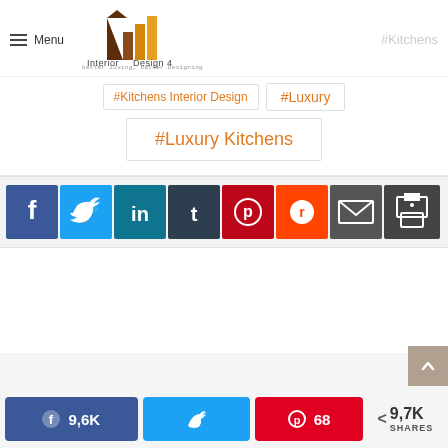Interior Design 4 — better living, better Designing — Menu — #Kitchens
#Kitchens Interior Design
#Luxury
#Luxury Kitchens
[Figure (infographic): Social share buttons row: Facebook (blue), Twitter (light blue), LinkedIn (dark teal), Tumblr (dark navy), Pinterest (red), Reddit (orange), Email (dark gray), Print (dark gray)]
[Figure (infographic): Bottom share bar: Facebook 9,6K | Twitter (no count) | Pinterest 68 | Share count 9,7K SHARES]